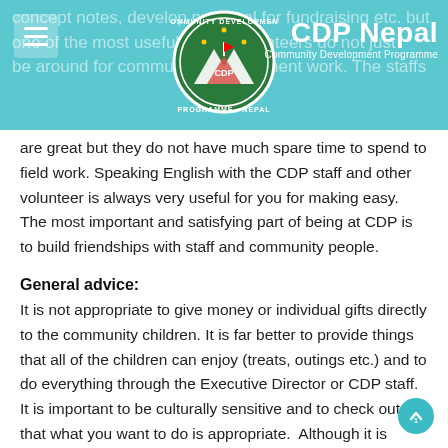CDP Nepal — Community Development Programme
concept notes, develop proposal for fundraising etc. but one of the most useful is that volunteers do not just be around for community development work. The staffs are great but they do not have much spare time to spend to field work. Speaking English with the CDP staff and other volunteer is always very useful for you for making easy. The most important and satisfying part of being at CDP is to build friendships with staff and community people.
General advice:
It is not appropriate to give money or individual gifts directly to the community children. It is far better to provide things that all of the children can enjoy (treats, outings etc.) and to do everything through the Executive Director or CDP staff.
It is important to be culturally sensitive and to check out that what you want to do is appropriate.  Although it is